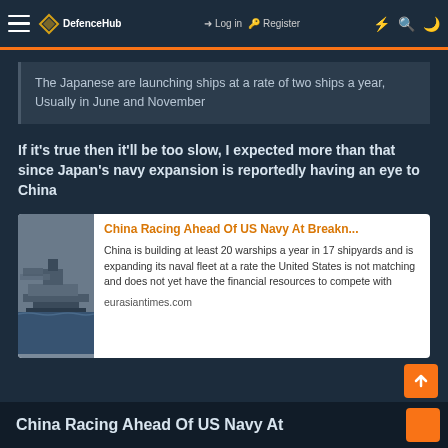DefenceHub - Log in - Register
The Japanese are launching ships at a rate of two ships a year, Usually in June and November
If it's true then it'll be too slow, I expected more than that since Japan's navy expansion is reportedly having an eye to China
[Figure (screenshot): Link preview card for article: China Racing Ahead Of US Navy At Breakn... with thumbnail image of warships]
China is building at least 20 warships a year in 17 shipyards and is expanding its naval fleet at a rate the United States is not matching and does not yet have the financial resources to compete with
eurasiantimes.com
China Racing Ahead Of US Navy At